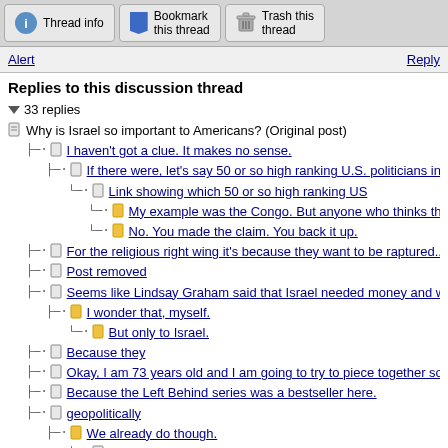[Figure (screenshot): Forum thread toolbar with Thread info, Bookmark this thread, and Trash this thread buttons]
Alert    Reply
Replies to this discussion thread
▼ 33 replies
Why is Israel so important to Americans? (Original post)
I haven't got a clue. It makes no sense.
If there were, let's say 50 or so high ranking U.S. politicians in D.C.
Link showing which 50 or so high ranking US
My example was the Congo. But anyone who thinks this might
No. You made the claim. You back it up.
For the religious right wing it's because they want to be raptured....
Post removed
Seems like Lindsay Graham said that Israel needed money and we
I wonder that, myself.
But only to Israel.
Because they
Okay, I am 73 years old and I am going to try to piece together some
Because the Left Behind series was a bestseller here.
geopolitically
We already do though.
Do you remember the 1970's?